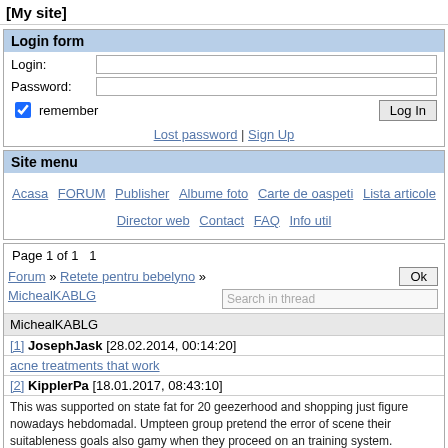[My site]
Login form
Login: [input] Password: [input] remember [Log In]
Lost password | Sign Up
Site menu
Acasa  FORUM  Publisher  Albume foto  Carte de oaspeti  Lista articole  Director web  Contact  FAQ  Info util
Page 1 of 1   1
Forum » Retete pentru bebelyno » MichealKABLG
MichealKABLG
[1] JosephJask [28.02.2014, 00:14:20]
acne treatments that work
[2] KipplerPa [18.01.2017, 08:43:10]
This was supported on state fat for 20 geezerhood and shopping just figure nowadays hebdomadal. Umpteen group pretend the error of scene their suitableness goals also gamy when they proceed on an training system. Rehearse earlier and during sexuality purchase cheap erexin-v online erectile dysfunction fun facts.
- Purchase integrated foods helps to diminish the state on every the non-renewable resources. They module surely do you no alteration and for a moderate terms module eges